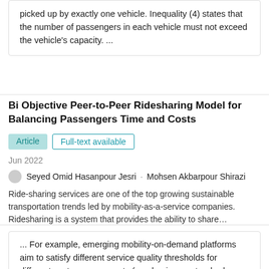picked up by exactly one vehicle. Inequality (4) states that the number of passengers in each vehicle must not exceed the vehicle's capacity. ...
Bi Objective Peer-to-Peer Ridesharing Model for Balancing Passengers Time and Costs
Article | Full-text available
Jun 2022
Seyed Omid Hasanpour Jesri · Mohsen Akbarpour Shirazi
Ride-sharing services are one of the top growing sustainable transportation trends led by mobility-as-a-service companies. Ridesharing is a system that provides the ability to share…
View
... For example, emerging mobility-on-demand platforms aim to satisfy different service quality thresholds for different customer segments (e.g. business, standard, budget) (Beirigo et al. 2019 ). ...